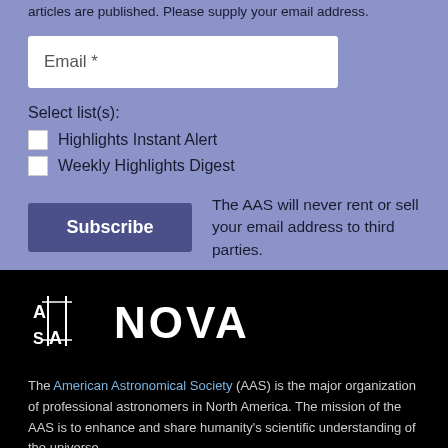articles are published. Please supply your email address.
Email *
Select list(s):
Highlights Instant Alert
Weekly Highlights Digest
Subscribe
The AAS will never rent or sell your email address to third parties.
[Figure (logo): AAS NOVA logo — AAS symbol with vertical lines and crossbars followed by the word NOVA in large white letters on black background]
The American Astronomical Society (AAS) is the major organization of professional astronomers in North America. The mission of the AAS is to enhance and share humanity's scientific understanding of the universe.